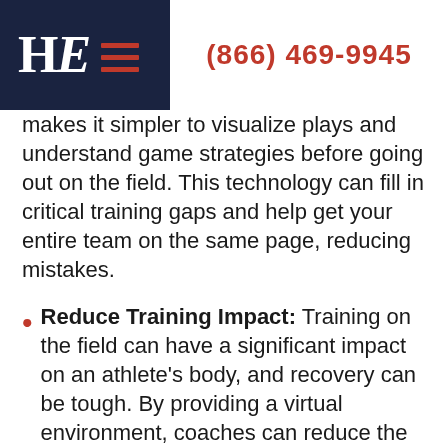HE | (866) 469-9945
makes it simpler to visualize plays and understand game strategies before going out on the field. This technology can fill in critical training gaps and help get your entire team on the same page, reducing mistakes.
Reduce Training Impact: Training on the field can have a significant impact on an athlete's body, and recovery can be tough. By providing a virtual environment, coaches can reduce the impact of training on their athletes, allowing them to perform at their very best on the field. Additionally,